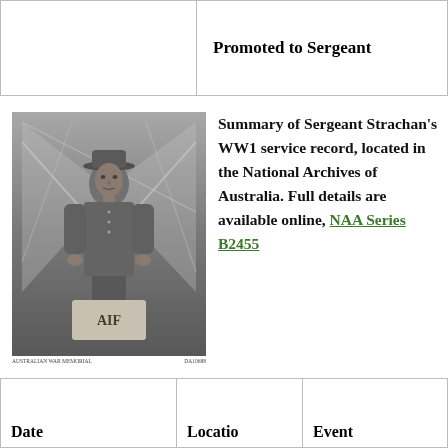|  |  |
| --- | --- |
|  | Promoted to Sergeant |
[Figure (photo): Black and white photograph of Sergeant Strachan in WWI Australian military uniform, standing in front of flags with an AIF sign, from the Australian War Memorial collection, item DA10688.]
AUSTRALIAN WAR MEMORIAL   DA10688
Summary of Sergeant Strachan's WW1 service record, located in the National Archives of Australia. Full details are available online, NAA Series B2455
| Date | Locatio | Event |
| --- | --- | --- |